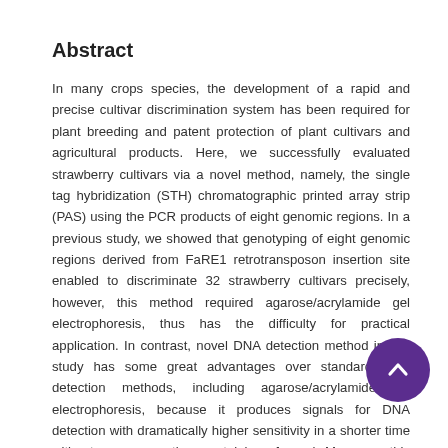Abstract
In many crops species, the development of a rapid and precise cultivar discrimination system has been required for plant breeding and patent protection of plant cultivars and agricultural products. Here, we successfully evaluated strawberry cultivars via a novel method, namely, the single tag hybridization (STH) chromatographic printed array strip (PAS) using the PCR products of eight genomic regions. In a previous study, we showed that genotyping of eight genomic regions derived from FaRE1 retrotransposon insertion site enabled to discriminate 32 strawberry cultivars precisely, however, this method required agarose/acrylamide gel electrophoresis, thus has the difficulty for practical application. In contrast, novel DNA detection method in this study has some great advantages over standard DNA detection methods, including agarose/acrylamide gel electrophoresis, because it produces signals for DNA detection with dramatically higher sensitivity in a shorter time without any preparation or staining of a gel. Moreover, this method enables the visualization of multiplex signals simultaneously in a single reaction, as combined by electroplates of amplification products. We...